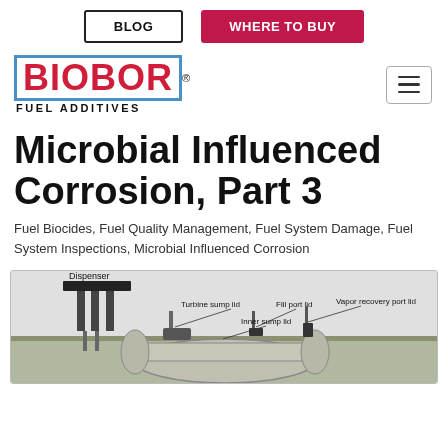BLOG | WHERE TO BUY
[Figure (logo): Biobor Fuel Additives logo with red block letters and blue border]
Microbial Influenced Corrosion, Part 3
Fuel Biocides, Fuel Quality Management, Fuel System Damage, Fuel System Inspections, Microbial Influenced Corrosion
[Figure (illustration): Underground fuel storage tank diagram showing Dispenser, Turbine sump lid, Fill port lid, Vapor recovery port lid, Inner sump lid, and cross-section of underground tank components]